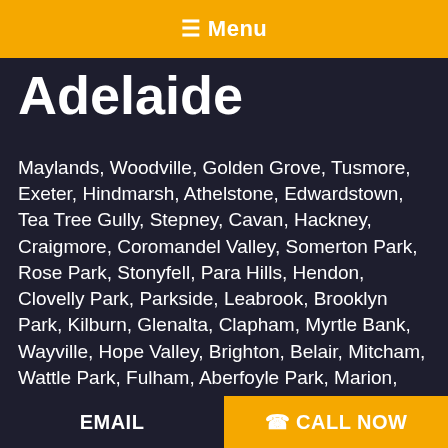☰ Menu
Adelaide
Maylands, Woodville, Golden Grove, Tusmore, Exeter, Hindmarsh, Athelstone, Edwardstown, Tea Tree Gully, Stepney, Cavan, Hackney, Craigmore, Coromandel Valley, Somerton Park, Rose Park, Stonyfell, Para Hills, Hendon, Clovelly Park, Parkside, Leabrook, Brooklyn Park, Kilburn, Glenalta, Clapham, Myrtle Bank, Wayville, Hope Valley, Brighton, Belair, Mitcham, Wattle Park, Fulham, Aberfoyle Park, Marion, Cumberland Park, Linden Park, Brompton, Peterhead, Ascot Park, Morphettville, Mile End, Woodcroft, Sheidow Park, Hallett Cove, Highbury, Walkerville, Seaton, Parafield Gardens, Hawthorndene, Warradale
EMAIL   ☎ CALL NOW